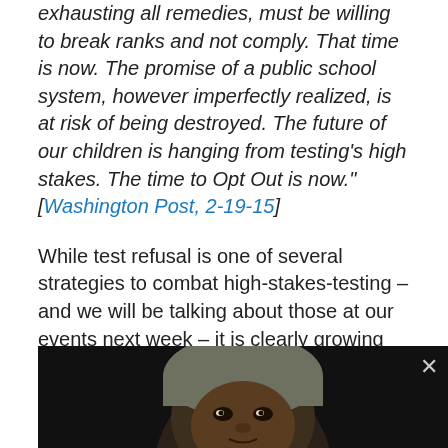exhausting all remedies, must be willing to break ranks and not comply. That time is now. The promise of a public school system, however imperfectly realized, is at risk of being destroyed. The future of our children is hanging from testing's high stakes. The time to Opt Out is now." [Washington Post, 2-19-15]
While test refusal is one of several strategies to combat high-stakes-testing – and we will be talking about those at our events next week – it is clearly growing across the country, and with good reason. I leave you here with the words of New Jersey parents who made this powerful video, and look forward to continuing the conversation on March 18th and March 21st.
[Figure (photo): Video thumbnail showing a close-up of a person's face against a dark background, with an X close button in the top right corner.]